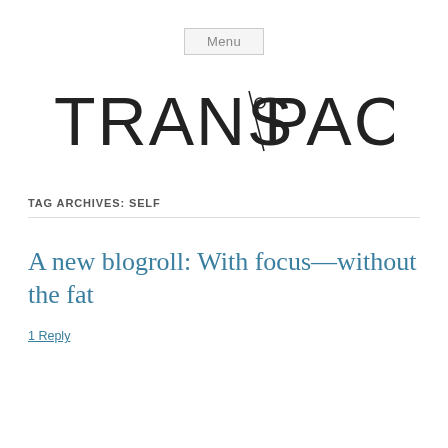Menu
[Figure (logo): TRANSPACIFICA logo in thin geometric uppercase lettering]
TAG ARCHIVES: SELF
A new blogroll: With focus—without the fat
1 Reply